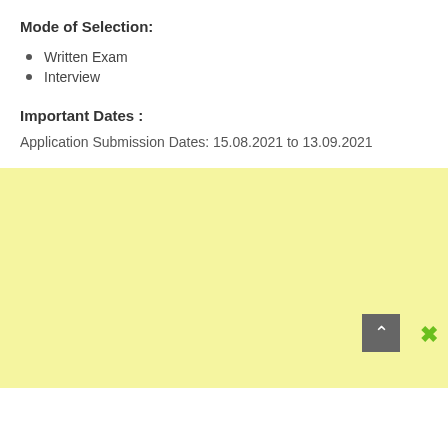Mode of Selection:
Written Exam
Interview
Important Dates :
Application Submission Dates: 15.08.2021 to 13.09.2021